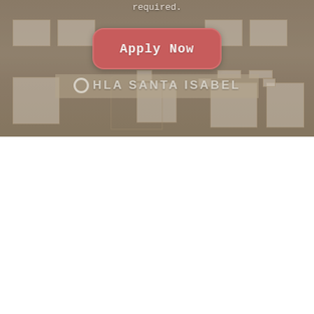required.
[Figure (photo): Photograph of a hotel building facade with 'HLA SANTA ISABEL' signage, showing windows and architectural details with a warm beige/tan color scheme. An 'Apply Now' button overlay is visible in the center of the image.]
Apply Now